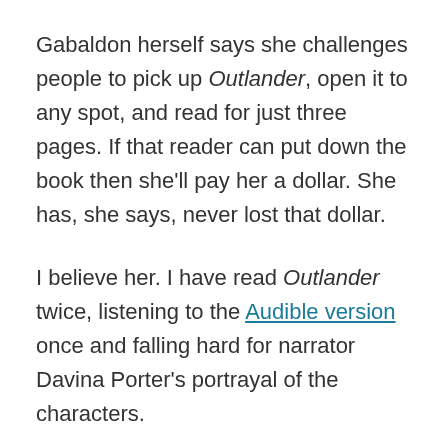Gabaldon herself says she challenges people to pick up Outlander, open it to any spot, and read for just three pages. If that reader can put down the book then she'll pay her a dollar. She has, she says, never lost that dollar.
I believe her. I have read Outlander twice, listening to the Audible version once and falling hard for narrator Davina Porter's portrayal of the characters.
Since then, I've listened to the entire series and most of the spinoffs, even making a trip to the